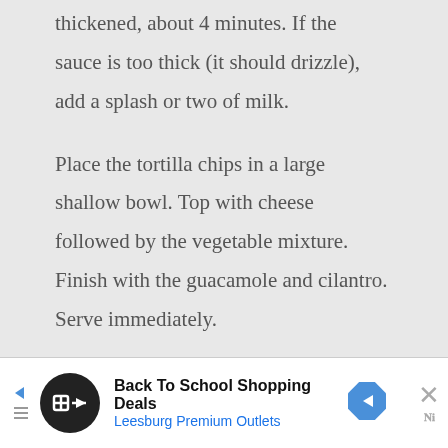thickened, about 4 minutes. If the sauce is too thick (it should drizzle), add a splash or two of milk.
Place the tortilla chips in a large shallow bowl. Top with cheese followed by the vegetable mixture. Finish with the guacamole and cilantro. Serve immediately.
[Figure (other): Advertisement banner for Back To School Shopping Deals at Leesburg Premium Outlets with logo and navigation arrow icon]